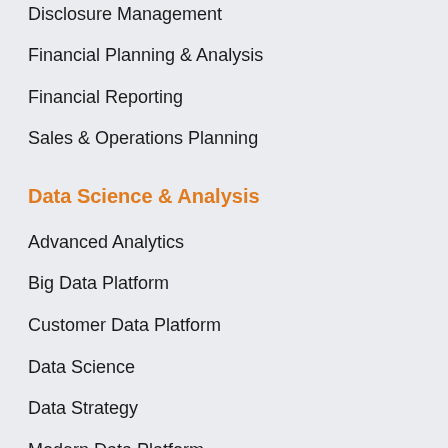Disclosure Management
Financial Planning & Analysis
Financial Reporting
Sales & Operations Planning
Data Science & Analysis
Advanced Analytics
Big Data Platform
Customer Data Platform
Data Science
Data Strategy
Modern Data Platform
Data Governance